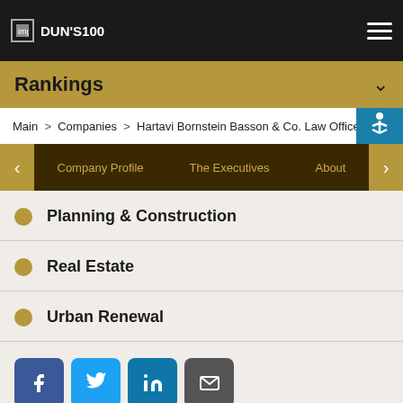Logo DUN'S100
Rankings
Main > Companies > Hartavi Bornstein Basson & Co. Law Office
Company Profile   The Executives   About
Planning & Construction
Real Estate
Urban Renewal
[Figure (other): Social sharing icons: Facebook, Twitter, LinkedIn, Email]